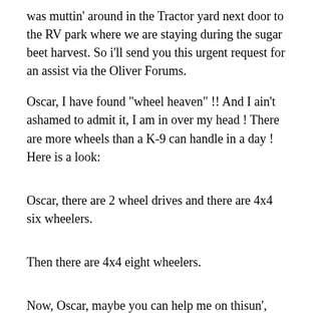was muttin' around in the Tractor yard next door to the RV park where we are staying during the sugar beet harvest. So i'll send you this urgent request for an assist via the Oliver Forums.
Oscar, I have found "wheel heaven" !! And I ain't ashamed to admit it, I am in over my head ! There are more wheels than a K-9 can handle in a day ! Here is a look:
Oscar, there are 2 wheel drives and there are 4x4 six wheelers.
Then there are 4x4 eight wheelers.
Now, Oscar, maybe you can help me on thisun', wher should a guy mark this strange wheel ?
There are even large all iron wheels !